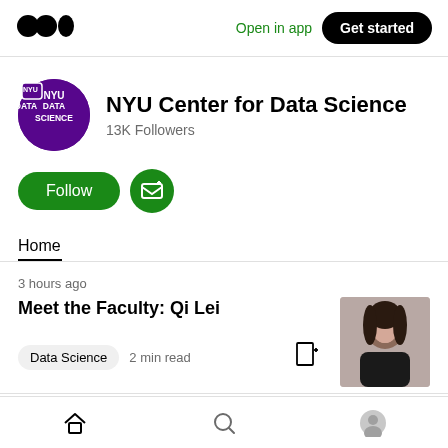Open in app | Get started
NYU Center for Data Science
13K Followers
Follow
Home
3 hours ago
Meet the Faculty: Qi Lei
Data Science  2 min read
[Figure (photo): Portrait photo of Qi Lei, a woman with dark hair]
Home | Search | Profile